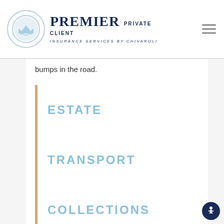Premier Private Client Insurance Services by Chivaroli
bumps in the road.
ESTATE
TRANSPORT
COLLECTIONS
UMBRELLA